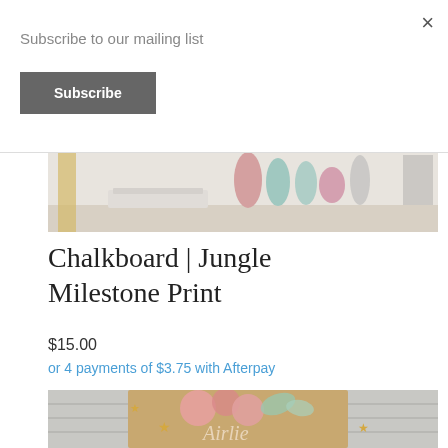Subscribe to our mailing list
Subscribe
[Figure (photo): Product shelf photo showing bottles and containers in pastel colors on a white surface]
Chalkboard | Jungle Milestone Print
$15.00
or 4 payments of $3.75 with Afterpay
[Figure (photo): Decorative chalkboard print with floral design (pink roses, mint leaves) on rustic wood background with gold stars and the name 'Airlie' in script]